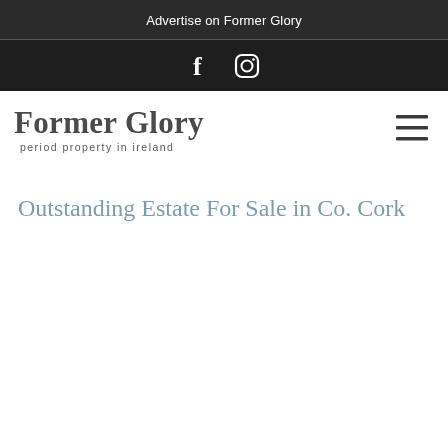Advertise on Former Glory
[Figure (logo): Facebook and Instagram social media icons in white on dark background]
[Figure (logo): Former Glory logo - stylized text reading 'Former Glory' with subtitle 'period property in ireland']
[Figure (other): Hamburger menu icon (three horizontal lines)]
Outstanding Estate For Sale in Co. Cork